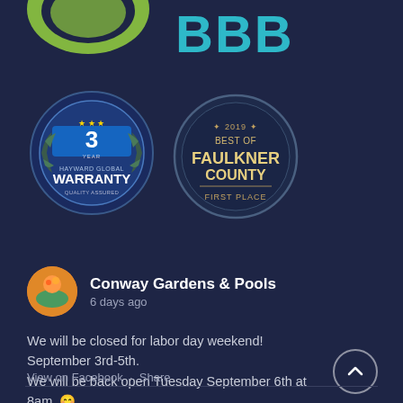[Figure (logo): Partial BBB (Better Business Bureau) logo visible at the top — green circular emblem on left, large teal BBB text on right]
[Figure (logo): Hayward Global Warranty 3 Year badge — circular blue and silver seal with stars and laurel wreath]
[Figure (logo): 2019 Best of Faulkner County First Place badge — circular badge with dark border and gold text]
Conway Gardens & Pools
6 days ago
We will be closed for labor day weekend! September 3rd-5th. We will be back open Tuesday September 6th at 8am. 😊
View on Facebook · Share